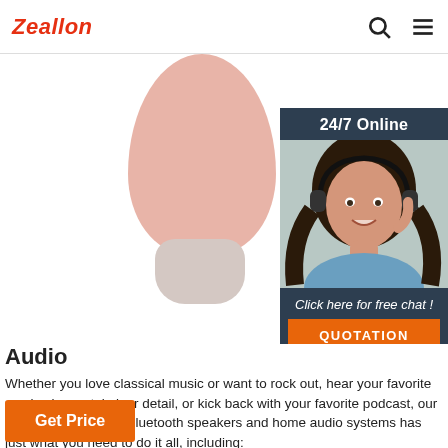Zeallon
[Figure (photo): Close-up photo of a pink/rose gold wireless earbud (Bluetooth earphone) with a white charging stem, shown from above against a white background. On the right side is a customer service chat widget showing a female agent wearing a headset.]
Audio
Whether you love classical music or want to rock out, hear your favorite movies in crystal-clear detail, or kick back with your favorite podcast, our newest collection of Bluetooth speakers and home audio systems has just what you need to do it all, including:
- Wireless Speakers: Take your favorite tunes wherever you roam.
Get Price